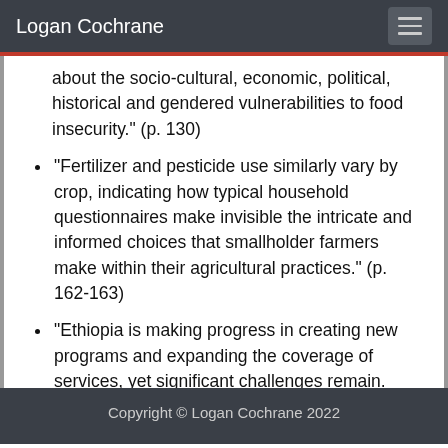Logan Cochrane
about the socio-cultural, economic, political, historical and gendered vulnerabilities to food insecurity." (p. 130)
"Fertilizer and pesticide use similarly vary by crop, indicating how typical household questionnaires make invisible the intricate and informed choices that smallholder farmers make within their agricultural practices." (p. 162-163)
"Ethiopia is making progress in creating new programs and expanding the coverage of services, yet significant challenges remain. With almost half of all children under the age of
Copyright © Logan Cochrane 2022